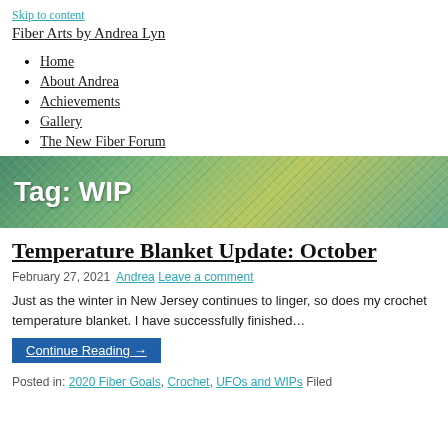Skip to content
Fiber Arts by Andrea Lyn
Home
About Andrea
Achievements
Gallery
The New Fiber Forum
[Figure (photo): A close-up photo of green and blue crochet yarn texture used as a banner background with white bold text reading 'Tag: WIP']
Temperature Blanket Update: October
February 27, 2021  Andrea  Leave a comment
Just as the winter in New Jersey continues to linger, so does my crochet temperature blanket. I have successfully finished…
Continue Reading →
Posted in: 2020 Fiber Goals, Crochet, UFOs and WIPs Filed